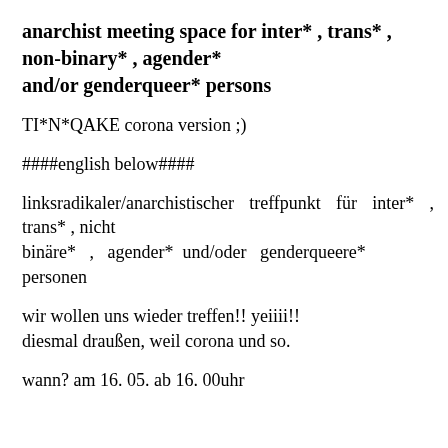anarchist meeting space for inter* , trans* , non-binary* , agender*
and/or genderqueer* persons
TI*N*QAKE corona version ;)
####english below####
linksradikaler/anarchistischer treffpunkt für inter* , trans* , nicht
binäre*  ,  agender*  und/oder  genderqueere*
personen
wir wollen uns wieder treffen!! yeiiii!!
diesmal draußen, weil corona und so.
wann? am 16. 05. ab 16. 00uhr